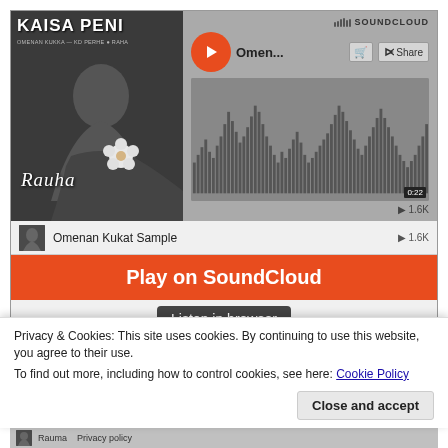[Figure (screenshot): SoundCloud embedded music player showing Kaisa Peni album 'Rauha' with waveform, play button, track listing including 'Omenan Kukat Sample', 'Ma Elän Sample', 'Oi Äiti Armas Sample', orange 'Play on SoundCloud' button, and 'Listen in browser' tooltip]
Privacy & Cookies: This site uses cookies. By continuing to use this website, you agree to their use.
To find out more, including how to control cookies, see here: Cookie Policy
Close and accept
Privacy policy